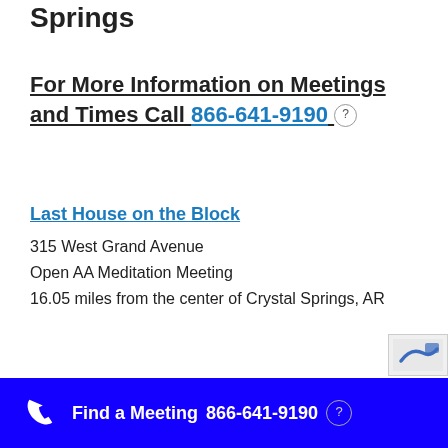Springs
For More Information on Meetings and Times Call  866-641-9190
Last House on the Block
315 West Grand Avenue
Open AA Meditation Meeting
16.05 miles from the center of Crystal Springs, AR
Find a Meeting  866-641-9190